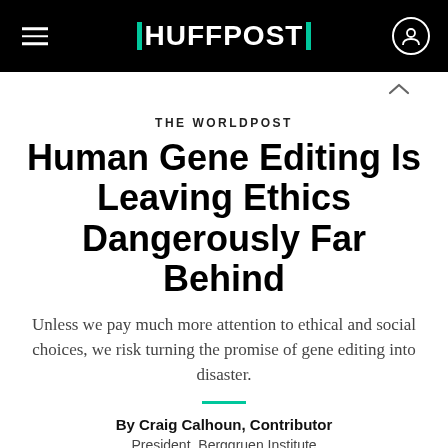HUFFPOST
THE WORLDPOST
Human Gene Editing Is Leaving Ethics Dangerously Far Behind
Unless we pay much more attention to ethical and social choices, we risk turning the promise of gene editing into disaster.
By Craig Calhoun, Contributor
President, Berggruen Institute